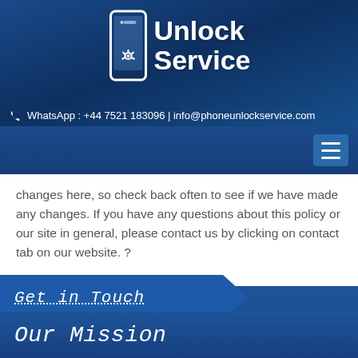[Figure (logo): Unlock Service logo with stylized phone icon and text 'Unlock Service' in white on blue background]
☎ WhatsApp : +44 7521 183096 | info@phoneunlockservice.com
changes here, so check back often to see if we have made any changes. If you have any questions about this policy or our site in general, please contact us by clicking on contact tab on our website. ?
Get in Touch
Our Mission